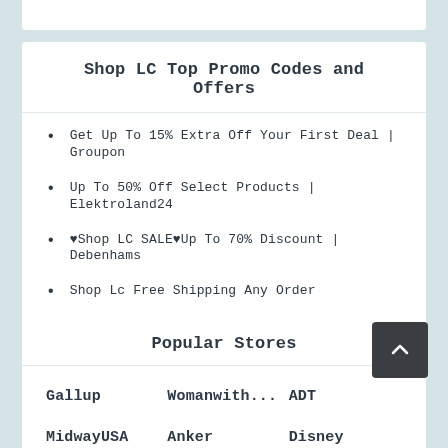Shop LC Top Promo Codes and Offers
Get Up To 15% Extra Off Your First Deal | Groupon
Up To 50% Off Select Products | Elektroland24
♥Shop LC SALE♥Up To 70% Discount | Debenhams
Shop Lc Free Shipping Any Order
Get An Extra 20% Off Birthstone Garnet At Shop LC
Popular Stores
Gallup
Womanwith...
ADT
MidwayUSA
Anker
Disney